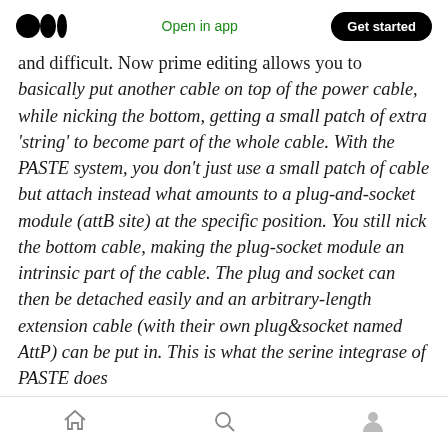Medium logo | Open in app | Get started
and difficult. Now prime editing allows you to basically put another cable on top of the power cable, while nicking the bottom, getting a small patch of extra ‘string’ to become part of the whole cable. With the PASTE system, you don’t just use a small patch of cable but attach instead what amounts to a plug-and-socket module (attB site) at the specific position. You still nick the bottom cable, making the plug-socket module an intrinsic part of the cable. The plug and socket can then be detached easily and an arbitrary-length extension cable (with their own plug&socket named AttP) can be put in. This is what the serine integrase of PASTE does
Home | Search | Profile